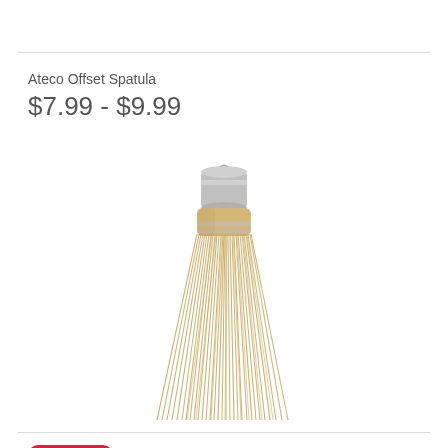Ateco Offset Spatula
$7.99 - $9.99
[Figure (photo): A small pastry/basting brush with straw/natural bristles and a silver metal ferrule with a hanging loop at the top.]
SOLD OUT
Amish Cake Tester